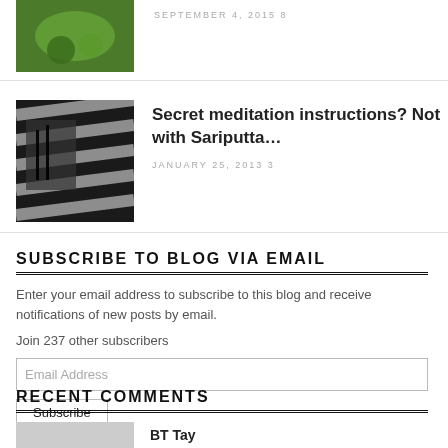[Figure (photo): Green plant/food thumbnail image at top]
SEPTEMBER 4, 2015 8
[Figure (photo): Black and white striped fabric or pattern thumbnail]
Secret meditation instructions? Not with Sariputta…
JANUARY 25, 2013 3
SUBSCRIBE TO BLOG VIA EMAIL
Enter your email address to subscribe to this blog and receive notifications of new posts by email.
Join 237 other subscribers
Email Address
Subscribe
RECENT COMMENTS
[Figure (photo): Gray avatar placeholder]
BT Tay